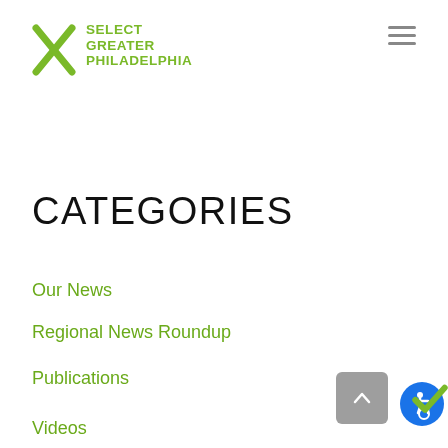[Figure (logo): Select Greater Philadelphia logo with green X mark and green text reading SELECT GREATER PHILADELPHIA]
CATEGORIES
Our News
Regional News Roundup
Publications
Videos